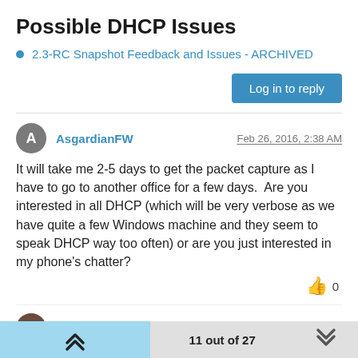Possible DHCP Issues
2.3-RC Snapshot Feedback and Issues - ARCHIVED
Log in to reply
AsgardianFW
Feb 26, 2016, 2:38 AM
It will take me 2-5 days to get the packet capture as I have to go to another office for a few days.  Are you interested in all DHCP (which will be very verbose as we have quite a few Windows machine and they seem to speak DHCP way too often) or are you just interested in my phone's chatter?
cmb
Feb 26, 2016, 3:13 AM
11 out of 27